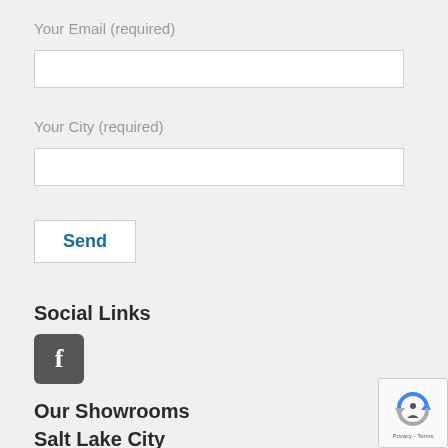Your Email (required)
Your City (required)
Send
Social Links
[Figure (logo): Facebook icon - dark gray rounded square with white 'f' letter]
Our Showrooms
Salt Lake City
[Figure (other): reCAPTCHA badge with scroll-to-top button in bottom right corner, showing reCAPTCHA logo and Privacy - Terms text]